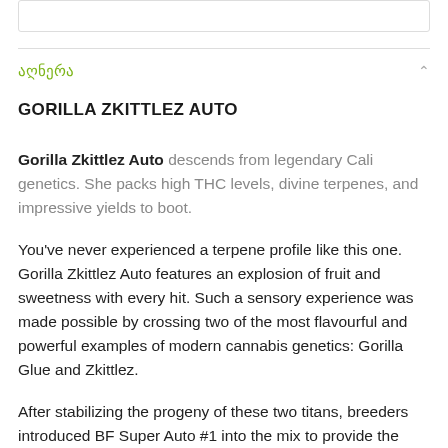აღნერა
GORILLA ZKITTLEZ AUTO
Gorilla Zkittlez Auto descends from legendary Cali genetics. She packs high THC levels, divine terpenes, and impressive yields to boot.
You've never experienced a terpene profile like this one. Gorilla Zkittlez Auto features an explosion of fruit and sweetness with every hit. Such a sensory experience was made possible by crossing two of the most flavourful and powerful examples of modern cannabis genetics: Gorilla Glue and Zkittlez.
After stabilizing the progeny of these two titans, breeders introduced BF Super Auto #1 into the mix to provide the necessary autoflowering genetics. It emerged from the breeding project as a 75% indica-dominant cultivar. She sports the best traits of both